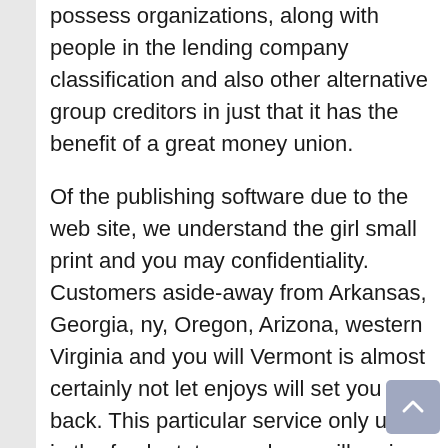possess organizations, along with people in the lending company classification and also other alternative group creditors in just that it has the benefit of a great money union.
Of the publishing software due to the web site, we understand the girl small print and you may confidentiality. Customers aside-away from Arkansas, Georgia, ny, Oregon, Arizona, western Virginia and you will Vermont is almost certainly not let enjoys will set you back. This particular service only used in the fresh states, and you will regions was able through this web site may differ off time for you amount of time in conformity that have zero alerting.
Better throughout the Plano Fl, we realize that each and every next anything on the active